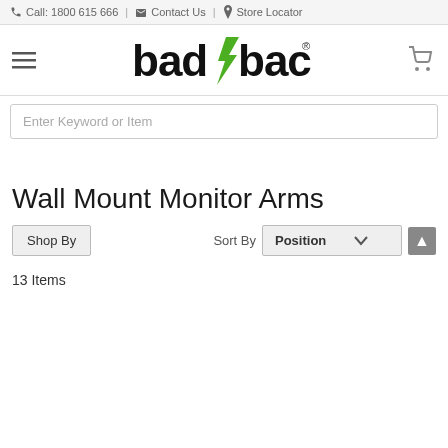Call: 1800 615 666 | Contact Us | Store Locator
[Figure (logo): badbacks logo with green lightning bolt and registered trademark symbol]
[Figure (screenshot): Search input field with placeholder text 'Enter Keyword or Item']
Wall Mount Monitor Arms
Shop By   Sort By  Position
13 Items